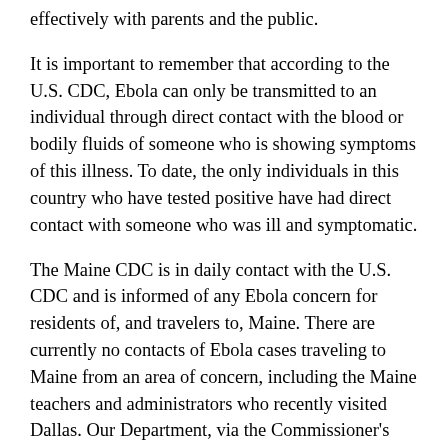effectively with parents and the public.
It is important to remember that according to the U.S. CDC, Ebola can only be transmitted to an individual through direct contact with the blood or bodily fluids of someone who is showing symptoms of this illness. To date, the only individuals in this country who have tested positive have had direct contact with someone who was ill and symptomatic.
The Maine CDC is in daily contact with the U.S. CDC and is informed of any Ebola concern for residents of, and travelers to, Maine. There are currently no contacts of Ebola cases traveling to Maine from an area of concern, including the Maine teachers and administrators who recently visited Dallas. Our Department, via the Commissioner's Office and our School Nurse Consultant Nancy Dube, will continue